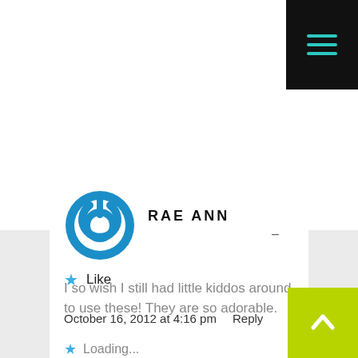[Figure (other): Black hamburger menu button in top-right corner with three teal horizontal lines]
Like
October 16, 2012 at 4:16 pm   Reply
[Figure (logo): Blue circular power button icon (avatar for Rae Ann)]
RAE ANN
I so wish I still had little kiddos around to use these! They are so adorable.
Loading...